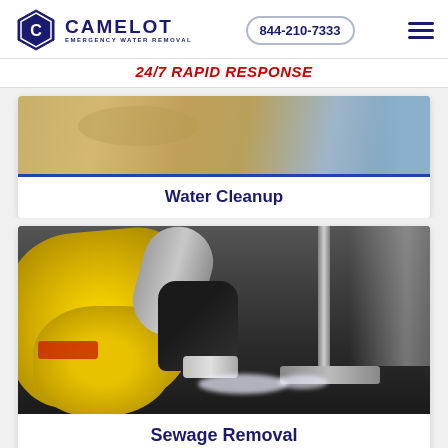[Figure (logo): Camelot Emergency Water Removal logo with hexagon icon]
844-210-7333
24/7 RAPID RESPONSE
[Figure (photo): Water-damaged floor, tile surface with water and staining]
Water Cleanup
[Figure (photo): Person in yellow protective gear using a vacuum hose to remove sewage/water from a flooded floor]
Sewage Removal